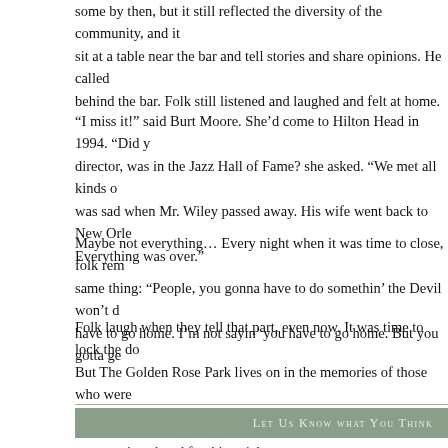some by then, but it still reflected the diversity of the community, and it would sit at a table near the bar and tell stories and share opinions. He called behind the bar. Folk still listened and laughed and felt at home.
“I miss it!” said Burt Moore. She’d come to Hilton Head in 1994. “Did you director, was in the Jazz Hall of Fame? she asked. “We met all kinds of was sad when Mr. Wiley passed away. His wife went back to New Orleans. Everything was over.”
Maybe not everything… Every night when it was time to close, folk remembered the same thing: “People, you gonna have to do somethin’ the Devil won’t do. You have to go home. I’m not sayin’ you have to go home. But you gotta get out!”
Folk laugh when they tell that part, even now. It was time to lock the doors. But The Golden Rose Park lives on in the memories of those who were there and we haven’t forgotten.
Let Us Know what You Think
commenting closed for this article